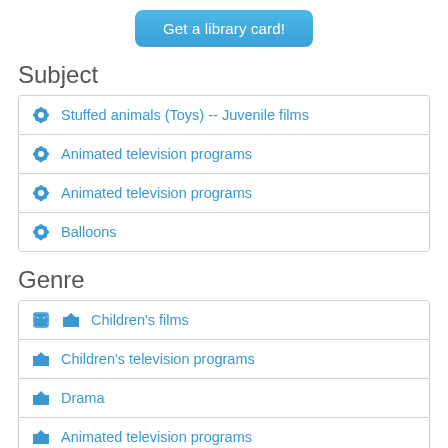Get a library card!
Subject
Stuffed animals (Toys) -- Juvenile films
Animated television programs
Animated television programs
Balloons
Genre
Children's films
Children's television programs
Drama
Animated television programs